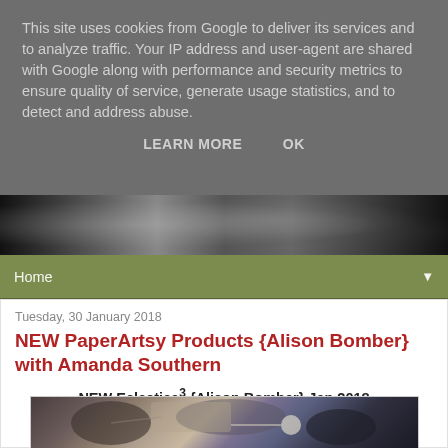This site uses cookies from Google to deliver its services and to analyze traffic. Your IP address and user-agent are shared with Google along with performance and security metrics to ensure quality of service, generate usage statistics, and to detect and address abuse.
LEARN MORE    OK
[Figure (photo): Black and white header photo banner showing an architectural/interior scene]
Home
Tuesday, 30 January 2018
NEW PaperArtsy Products {Alison Bomber} with Amanda Southern
NEW Eclectica³ {Alison Bomber} Jan 2018
[Figure (photo): Artwork image showing abstract shapes in brown, cream, purple, and dark tones]